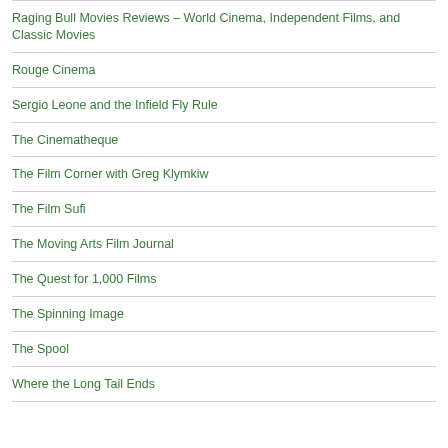Raging Bull Movies Reviews – World Cinema, Independent Films, and Classic Movies
Rouge Cinema
Sergio Leone and the Infield Fly Rule
The Cinematheque
The Film Corner with Greg Klymkiw
The Film Sufi
The Moving Arts Film Journal
The Quest for 1,000 Films
The Spinning Image
The Spool
Where the Long Tail Ends